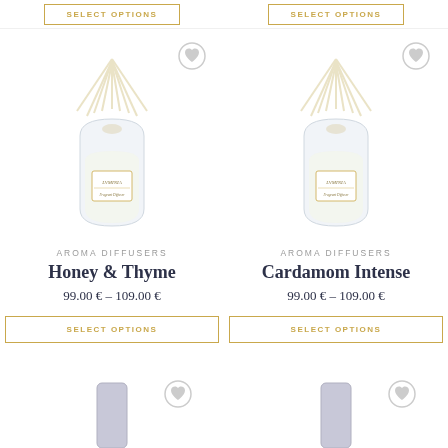[Figure (screenshot): Two SELECT OPTIONS buttons at top of page, partially visible from previous product listings]
[Figure (photo): Lvminia reed diffuser product photo - Honey & Thyme, clear glass bottle with cream/gold reeds]
AROMA DIFFUSERS
Honey & Thyme
99.00 € – 109.00 €
SELECT OPTIONS
[Figure (photo): Lvminia reed diffuser product photo - Cardamom Intense, clear glass bottle with cream/gold reeds]
AROMA DIFFUSERS
Cardamom Intense
99.00 € – 109.00 €
SELECT OPTIONS
[Figure (photo): Partial view of two candle/product items at bottom of page, cut off]